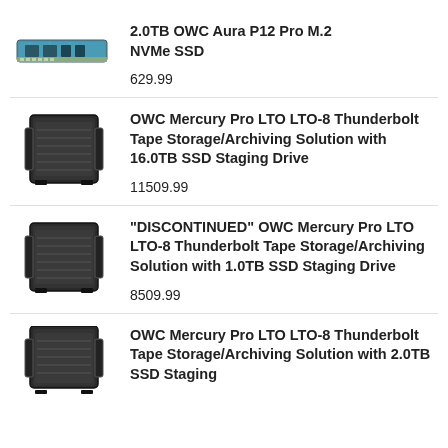[Figure (photo): M.2 NVMe SSD module, top-down view, blue/green PCB]
2.0TB OWC Aura P12 Pro M.2 NVMe SSD
629.99
[Figure (photo): OWC Mercury Pro LTO device, dark box enclosure with handles]
OWC Mercury Pro LTO LTO-8 Thunderbolt Tape Storage/Archiving Solution with 16.0TB SSD Staging Drive
11509.99
[Figure (photo): OWC Mercury Pro LTO device, dark box enclosure with handles]
"DISCONTINUED" OWC Mercury Pro LTO LTO-8 Thunderbolt Tape Storage/Archiving Solution with 1.0TB SSD Staging Drive
8509.99
[Figure (photo): OWC Mercury Pro LTO device, dark box enclosure with handles, partial view]
OWC Mercury Pro LTO LTO-8 Thunderbolt Tape Storage/Archiving Solution with 2.0TB SSD Staging